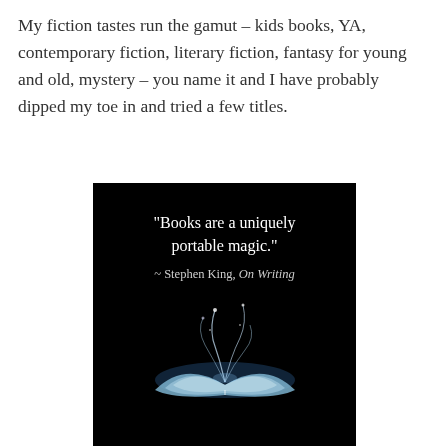My fiction tastes run the gamut – kids books, YA, contemporary fiction, literary fiction, fantasy for young and old, mystery – you name it and I have probably dipped my toe in and tried a few titles.
[Figure (illustration): Dark background image with an open book emitting magical swirling light and the quote: "Books are a uniquely portable magic." ~ Stephen King, On Writing]